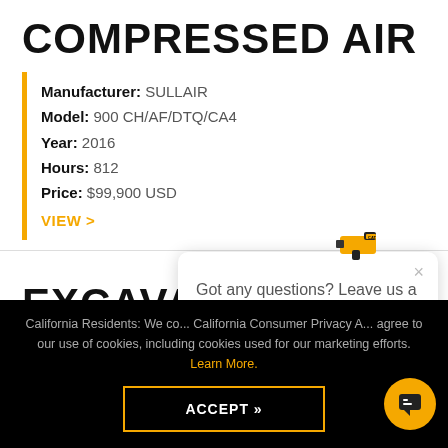COMPRESSED AIR
Manufacturer: SULLAIR
Model: 900 CH/AF/DTQ/CA4
Year: 2016
Hours: 812
Price: $99,900 USD
VIEW >
EXCAVATOR
[Figure (screenshot): Chat popup widget with CAT equipment icon and text 'Got any questions? Leave us a note!' with a close (×) button]
California Residents: We co... California Consumer Privacy A... agree to our use of cookies, including cookies used for our marketing efforts. Learn More.
ACCEPT »